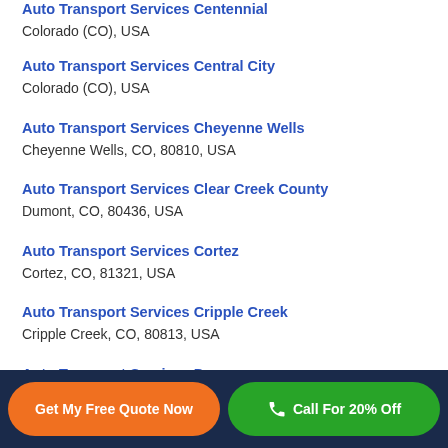Auto Transport Services Centennial
Colorado (CO), USA
Auto Transport Services Central City
Colorado (CO), USA
Auto Transport Services Cheyenne Wells
Cheyenne Wells, CO, 80810, USA
Auto Transport Services Clear Creek County
Dumont, CO, 80436, USA
Auto Transport Services Cortez
Cortez, CO, 81321, USA
Auto Transport Services Cripple Creek
Cripple Creek, CO, 80813, USA
Auto Transport Services Dacono
Dacono, CO, 80514, USA
Get My Free Quote Now
Call For 20% Off